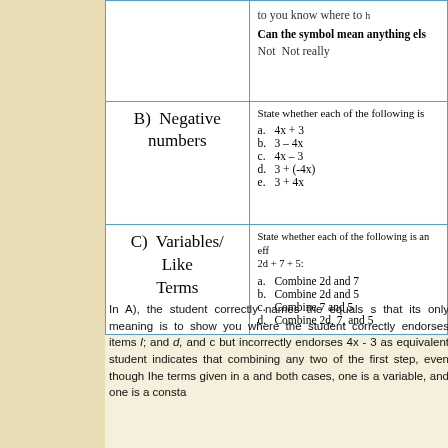| Category | Content |
| --- | --- |
| (A row - partial) | to you know where to...
Can the symbol mean anything els...
Not Not really |
| B)  Negative numbers | State whether each of the following is...
a. 4x + 3
b. 3 – 4x
c. 4x – 3
d. 3 + (-4x)
e. 3 + 4x |
| C)  Variables/ Like Terms | State whether each of the following is an eff... 2d + 7 + 5:
a. Combine 2d and 7
b. Combine 2d and 5
c. Combine 7 and 5
d. Combine 2d, 7, and 5 |
In A), the student correctly names the equals s... that its only meaning is to show you where the... student correctly endorses items /; and d, and c... but incorrectly endorses 4x - 3 as equivalent... student indicates that combining any two of the... first step, even though Ihe terms given in a and... both cases, one is a variable, and one is a consta...